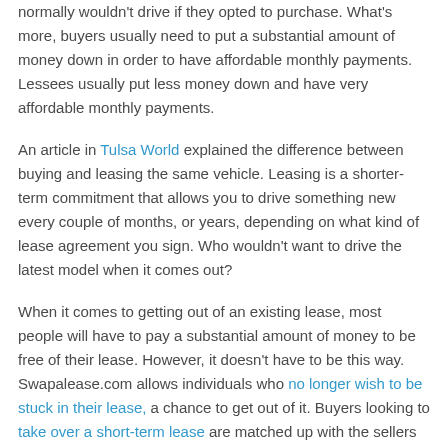normally wouldn't drive if they opted to purchase. What's more, buyers usually need to put a substantial amount of money down in order to have affordable monthly payments. Lessees usually put less money down and have very affordable monthly payments.
An article in Tulsa World explained the difference between buying and leasing the same vehicle. Leasing is a shorter-term commitment that allows you to drive something new every couple of months, or years, depending on what kind of lease agreement you sign. Who wouldn't want to drive the latest model when it comes out?
When it comes to getting out of an existing lease, most people will have to pay a substantial amount of money to be free of their lease. However, it doesn't have to be this way. Swapalease.com allows individuals who no longer wish to be stuck in their lease, a chance to get out of it. Buyers looking to take over a short-term lease are matched up with the sellers looking to exit their lease early.